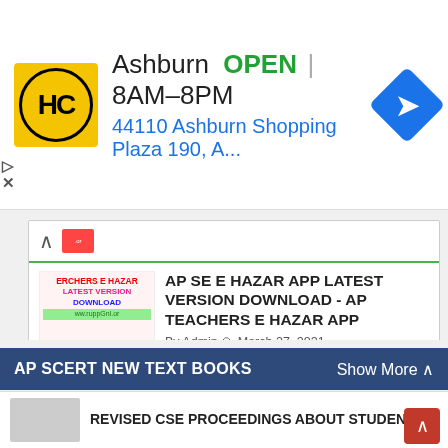[Figure (screenshot): Ad banner for HC store in Ashburn: OPEN 8AM-8PM, 44110 Ashburn Shopping Plaza 190, A...]
AP SE E HAZAR APP LATEST VERSION DOWNLOAD - AP TEACHERS E HAZAR APP
By Admin March 27, 2021
Student Attendance App Latest Version DOWNLOAD - Student Attendance App
By Admin March 27, 2021
IMMS APP LATEST VERSION DOWNLOAD - IMMS MDM ANDROID APP
By Admin March 27, 2021
AP SCERT NEW TEXT BOOKS
Show More
REVISED CSE PROCEEDINGS ABOUT STUDENTS